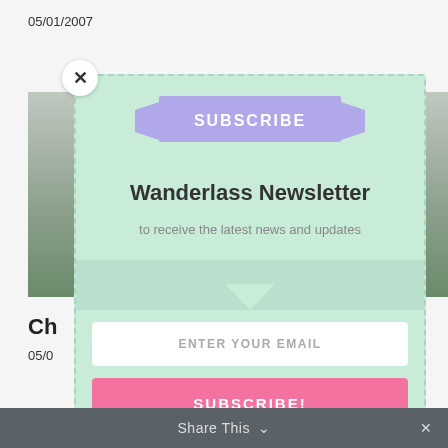05/01/2007
[Figure (screenshot): Background page with photo on left, partially obscured by modal overlay]
Ch
05/0
[Figure (infographic): Newsletter subscription modal with ribbon banner saying SUBSCRIBE, title Wanderlass Newsletter, subtitle to receive the latest news and updates, email input field, and pink SUBSCRIBE! button]
SUBSCRIBE
Wanderlass Newsletter
to receive the latest news and updates
ENTER YOUR EMAIL
SUBSCRIBE!
Share This ∨